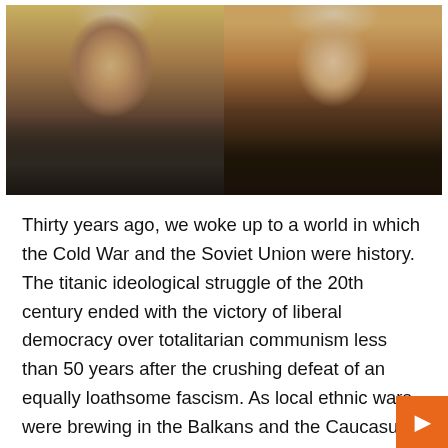[Figure (photo): Side-by-side photo of two men: on the left, an older white-haired man in a dark suit with a blue tie speaking at a podium with microphones against a gold/yellow background; on the right, a man in a dark suit with a dark red tie against a red background.]
Thirty years ago, we woke up to a world in which the Cold War and the Soviet Union were history. The titanic ideological struggle of the 20th century ended with the victory of liberal democracy over totalitarian communism less than 50 years after the crushing defeat of an equally loathsome fascism. As local ethnic wars were brewing in the Balkans and the Caucasus, conflicts between great powers had been